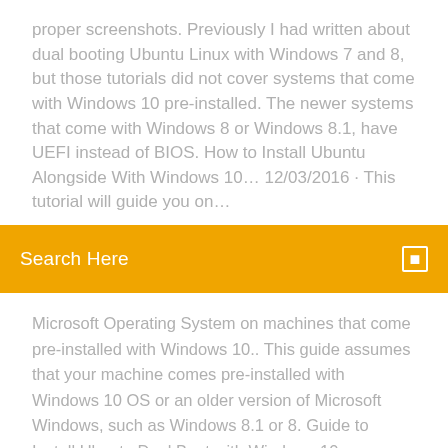proper screenshots. Previously I had written about dual booting Ubuntu Linux with Windows 7 and 8, but those tutorials did not cover systems that come with Windows 10 pre-installed. The newer systems that come with Windows 8 or Windows 8.1, have UEFI instead of BIOS. How to Install Ubuntu Alongside With Windows 10… 12/03/2016 · This tutorial will guide you on…
Search Here
Microsoft Operating System on machines that come pre-installed with Windows 10.. This guide assumes that your machine comes pre-installed with Windows 10 OS or an older version of Microsoft Windows, such as Windows 8.1 or 8. Guide to Install Ubuntu Dual Boot with Windows 10
Dual Boot Ubuntu 20.04 And Windows 10 Follow the step-by-step instructions to download Ubuntu ISO and install using the bootable Ubuntu USB stick. Here's a brief list of steps: